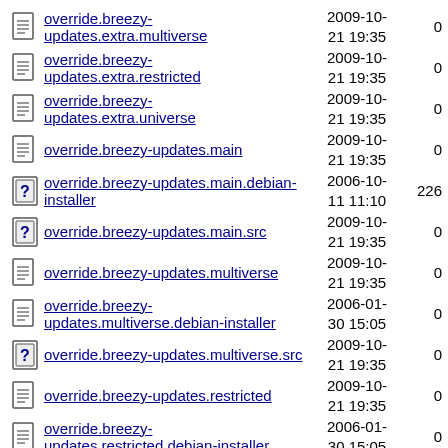override.breezy-updates.extra.multiverse  2009-10-21 19:35  0
override.breezy-updates.extra.restricted  2009-10-21 19:35  0
override.breezy-updates.extra.universe  2009-10-21 19:35  0
override.breezy-updates.main  2009-10-21 19:35  0
override.breezy-updates.main.debian-installer  2006-10-11 11:10  226
override.breezy-updates.main.src  2009-10-21 19:35  0
override.breezy-updates.multiverse  2009-10-21 19:35  0
override.breezy-updates.multiverse.debian-installer  2006-01-30 15:05  0
override.breezy-updates.multiverse.src  2009-10-21 19:35  0
override.breezy-updates.restricted  2009-10-21 19:35  0
override.breezy-updates.restricted.debian-installer  2006-01-30 15:05  0